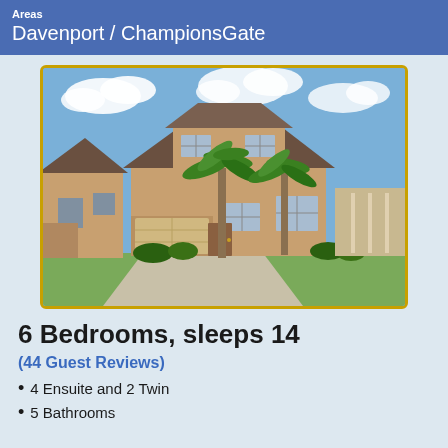Davenport / ChampionsGate
[Figure (photo): Exterior photo of a two-story tan/beige vacation home with a two-car garage, palm trees in front, blue sky with clouds, green lawn.]
6 Bedrooms, sleeps 14
(44 Guest Reviews)
4 Ensuite and 2 Twin
5 Bathrooms